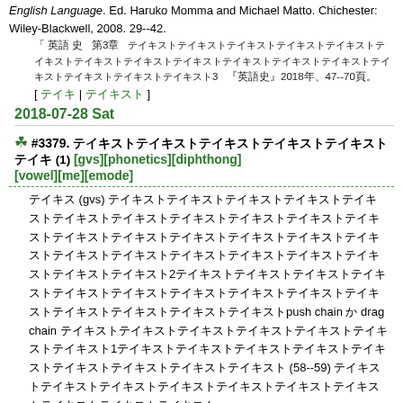English Language. Ed. Haruko Momma and Michael Matto. Chichester: Wiley-Blackwell, 2008. 29--42.
「 英語 史  第3章  （日本語テキストのため文字化け） 3  『英語史』2018年、47--70頁。
[ テキストリンク | テキストリンク ]
2018-07-28 Sat
☘ #3379. （日本語テキスト） (1) [gvs][phonetics][diphthong][vowel][me][emode]
（日本語テキスト） (gvs) （日本語テキスト）2（日本語テキスト）push chain か drag chain （日本語テキスト）1（日本語テキスト） (58--59) （日本語テキスト）
GVS （日本語テキスト） (eː → iː, oː → uː, iː → əɪ, uː → əʊ) （日本語テキスト）1400（日本語テキスト）1550（日本語テキスト）（日本語テキスト）1700（日本語テキスト）